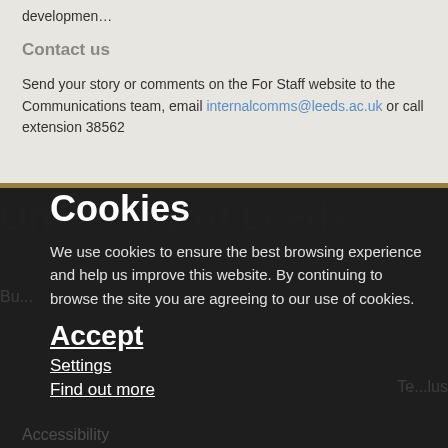developmen…
Contact us
Send your story or comments on the For Staff website to the Communications team, email internalcomms@leeds.ac.uk or call extension 38562
Cookies
We use cookies to ensure the best browsing experience and help us improve this website. By continuing to browse the site you are agreeing to our use of cookies.
Accept
Settings
Find out more